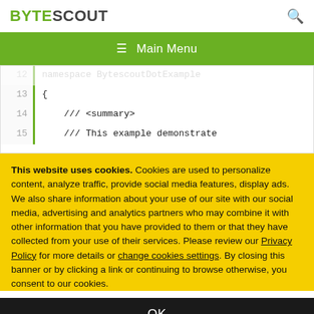BYTESCOUT
☰ Main Menu
[Figure (screenshot): Code editor snippet showing lines 12-15 of C# code with green vertical bar and line numbers. Line 12 (faded): namespace BytescoutDotExample, Line 13: {, Line 14:     /// <summary>, Line 15:     /// This example demonstrate]
This website uses cookies. Cookies are used to personalize content, analyze traffic, provide social media features, display ads. We also share information about your use of our site with our social media, advertising and analytics partners who may combine it with other information that you have provided to them or that they have collected from your use of their services. Please review our Privacy Policy for more details or change cookies settings. By closing this banner or by clicking a link or continuing to browse otherwise, you consent to our cookies.
OK